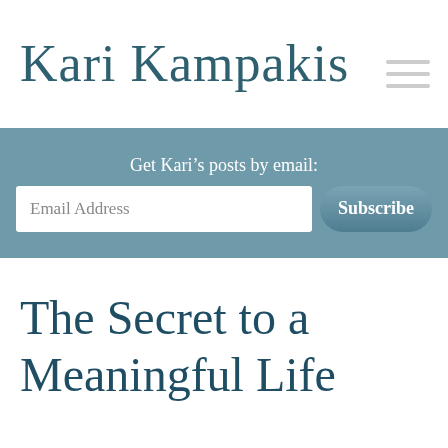Kari Kampakis
Get Kari's posts by email:
Email Address
Subscribe
The Secret to a Meaningful Life